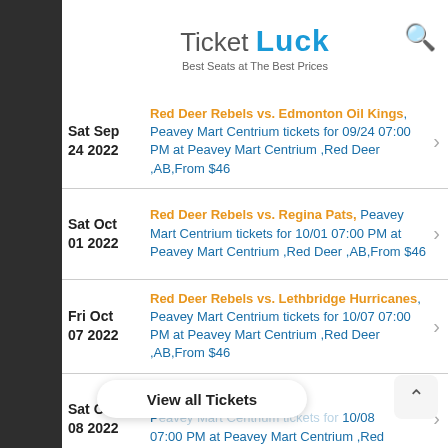Ticket Luck — Best Seats at The Best Prices
Sat Sep 24 2022 — Red Deer Rebels vs. Edmonton Oil Kings, Peavey Mart Centrium tickets for 09/24 07:00 PM at Peavey Mart Centrium ,Red Deer ,AB,From $46
Sat Oct 01 2022 — Red Deer Rebels vs. Regina Pats, Peavey Mart Centrium tickets for 10/01 07:00 PM at Peavey Mart Centrium ,Red Deer ,AB,From $46
Fri Oct 07 2022 — Red Deer Rebels vs. Lethbridge Hurricanes, Peavey Mart Centrium tickets for 10/07 07:00 PM at Peavey Mart Centrium ,Red Deer ,AB,From $46
Sat Oct 08 2022 — Red Deer Rebels vs. [Drumheller Oilmen], Peavey Mart Centrium tickets for 10/08 07:00 PM at Peavey Mart Centrium ,Red Deer ...
View all Tickets